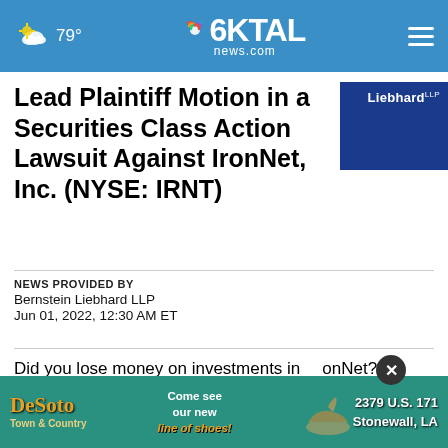79° KTAL news.com
Lead Plaintiff Motion in a Securities Class Action Lawsuit Against IronNet, Inc. (NYSE: IRNT)
[Figure (logo): Bernstein Liebhard LLP logo — dark blue box with white text]
NEWS PROVIDED BY
Bernstein Liebhard LLP
Jun 01, 2022, 12:30 AM ET
Did you lose money on investments in IronNet?
If so, ... Class Action Lawsuit or contact Peter Allocco at
[Figure (photo): DeSoto Town & Country advertisement banner: Come see our new line of shoes! 2379 U.S. 171 Stonewall, LA]